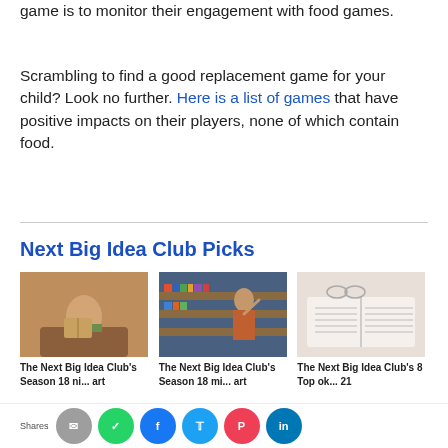game is to monitor their engagement with food games.
Scrambling to find a good replacement game for your child? Look no further. Here is a list of games that have positive impacts on their players, none of which contain food.
Next Big Idea Club Picks
[Figure (photo): Three book-related images in a row: person reading outdoors against a brick wall, woman in a library browsing shelves, open book on a light surface]
The Next Big Idea Club's Season 18 ning ... art
The Next Big Idea Club's Season 18 mi... art
The Next Big Idea Club's 8 Top ok... 21
Shares